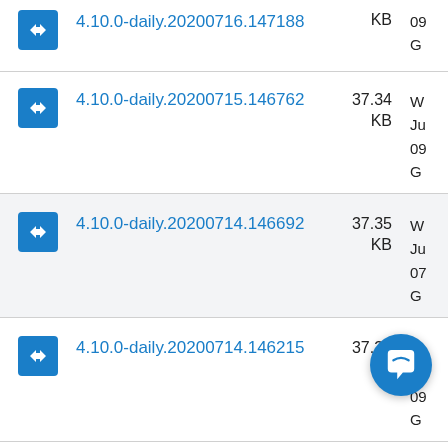4.10.0-daily.20200716.147188 · 37.xx KB
4.10.0-daily.20200715.146762 · 37.34 KB
4.10.0-daily.20200714.146692 · 37.35 KB
4.10.0-daily.20200714.146215 · 37.37 KB